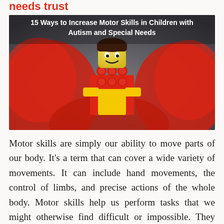needs trust
[Figure (photo): A LEGO minifigure with dark hair holding a red LEGO brick, surrounded by blurred red LEGO pieces, against a dark grey background. Text overlay reads: '15 Ways to Increase Motor Skills in Children with Autism and Special Needs']
Motor skills are simply our ability to move parts of our body. It's a term that can cover a wide variety of movements. It can include hand movements, the control of limbs, and precise actions of the whole body. Motor skills help us perform tasks that we might otherwise find difficult or impossible. They help us do things like write, type, or rake leaves. As